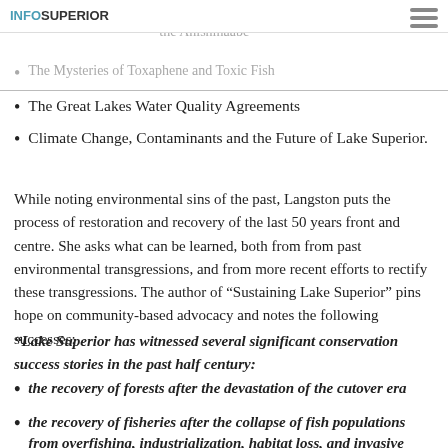INFOSUPERIOR
Mining, Toxics and Environmental Justice for the Anishinaabe
The Mysteries of Toxaphene and Toxic Fish
The Great Lakes Water Quality Agreements
Climate Change, Contaminants and the Future of Lake Superior.
While noting environmental sins of the past, Langston puts the process of restoration and recovery of the last 50 years front and centre. She asks what can be learned, both from from past environmental transgressions, and from more recent efforts to rectify these transgressions. The author of “Sustaining Lake Superior” pins hope on community-based advocacy and notes the following successes:
“Lake Superior has witnessed several significant conservation success stories in the past half century:
the recovery of forests after the devastation of the cutover era
the recovery of fisheries after the collapse of fish populations from overfishing, industrialization, habitat loss, and invasive species in the second half of the 20th